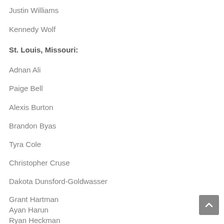Justin Williams
Kennedy Wolf
St. Louis, Missouri:
Adnan Ali
Paige Bell
Alexis Burton
Brandon Byas
Tyra Cole
Christopher Cruse
Dakota Dunsford-Goldwasser
Grant Hartman
Ayan Harun
Ryan Heckman